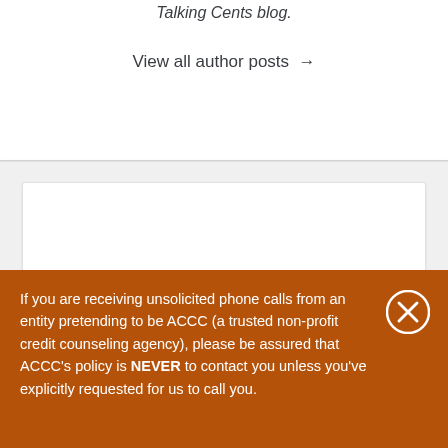Talking Cents blog.
View all author posts →
If you are receiving unsolicited phone calls from an entity pretending to be ACCC (a trusted non-profit credit counseling agency), please be assured that ACCC's policy is NEVER to contact you unless you've explicitly requested for us to call you.